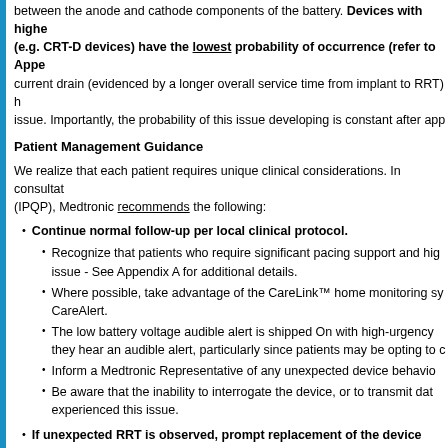between the anode and cathode components of the battery. Devices with higher current drain (e.g. CRT-D devices) have the lowest probability of occurrence (refer to Appendix A). current drain (evidenced by a longer overall service time from implant to RRT) has a higher probability of this issue. Importantly, the probability of this issue developing is constant after app
Patient Management Guidance
We realize that each patient requires unique clinical considerations. In consultation with (IPQP), Medtronic recommends the following:
Continue normal follow-up per local clinical protocol.
Recognize that patients who require significant pacing support and high issue - See Appendix A for additional details.
Where possible, take advantage of the CareLink™ home monitoring sy CareAlert.
The low battery voltage audible alert is shipped On with high-urgency they hear an audible alert, particularly since patients may be opting to c
Inform a Medtronic Representative of any unexpected device behavio
Be aware that the inability to interrogate the device, or to transmit dat experienced this issue.
If unexpected RRT is observed, prompt replacement of the device should be considered based on the clinical situation of the patient:
For non-pacing dependent patients or for primary prevention ICD pati unexpected RRT notification is recommended.
For pacing dependent patients, immediate replacement is recommend